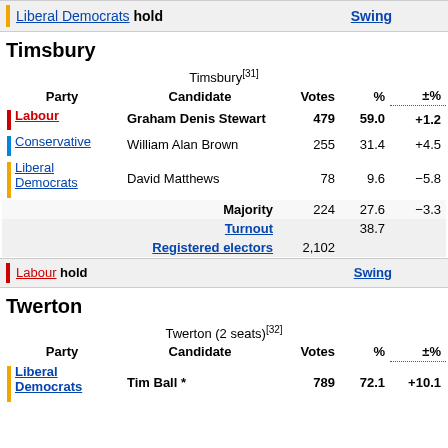Liberal Democrats hold | Swing
Timsbury
| Party | Candidate | Votes | % | ±% |
| --- | --- | --- | --- | --- |
| Labour | Graham Denis Stewart | 479 | 59.0 | +1.2 |
| Conservative | William Alan Brown | 255 | 31.4 | +4.5 |
| Liberal Democrats | David Matthews | 78 | 9.6 | -5.8 |
| Majority |  | 224 | 27.6 | -3.3 |
| Turnout |  |  | 38.7 |  |
| Registered electors |  | 2,102 |  |  |
Labour hold | Swing
Twerton
| Party | Candidate | Votes | % | ±% |
| --- | --- | --- | --- | --- |
| Liberal Democrats | Tim Ball * | 789 | 72.1 | +10.1 |